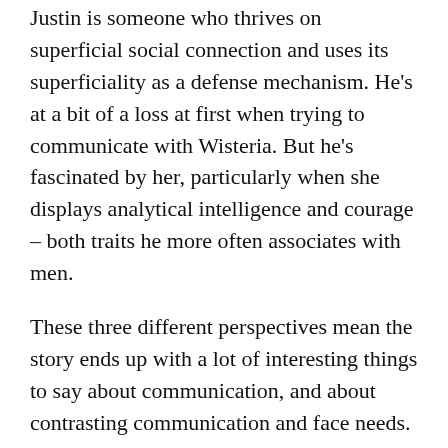Justin is someone who thrives on superficial social connection and uses its superficiality as a defense mechanism. He's at a bit of a loss at first when trying to communicate with Wisteria. But he's fascinated by her, particularly when she displays analytical intelligence and courage – both traits he more often associates with men.
These three different perspectives mean the story ends up with a lot of interesting things to say about communication, and about contrasting communication and face needs.
There are also giant talking cats.
Nik, by the way, is a mind-healer – which makes this the second work of fiction I've reviewed (after Geometries of Belonging) that portrays a mind-healer's reaction to an autistic person's mind. Like Dedéi in Geometries,